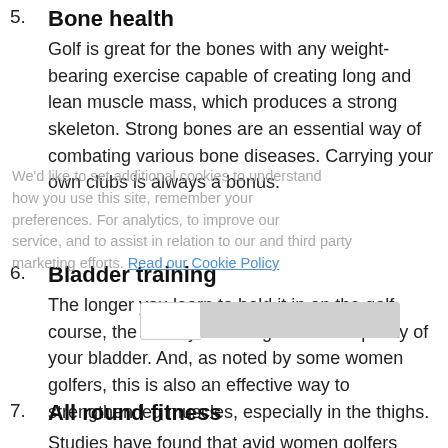5. Bone health
Golf is great for the bones with any weight-bearing exercise capable of creating long and lean muscle mass, which produces a strong skeleton. Strong bones are an essential way of combating various bone diseases. Carrying your own clubs is always a bonus.
6. Bladder training
The longer you learn to hold it in on the golf course, the more you strengthen the capacity of your bladder. And, as noted by some women golfers, this is also an effective way to strengthen leg muscles, especially in the thighs.
7. All round fitness
Studies have found that avid women golfers scored significantly better on reaction time, balance, sit and